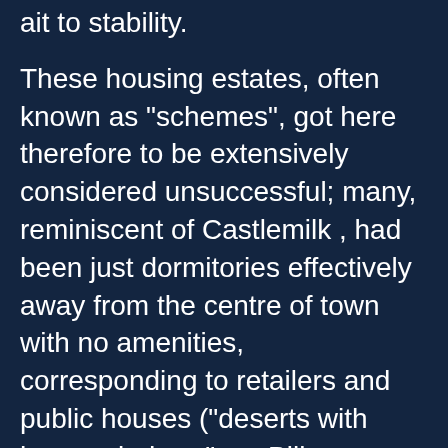ait to stability.
These housing estates, often known as "schemes", got here therefore to be extensively considered unsuccessful; many, reminiscent of Castlemilk , had been just dormitories effectively away from the centre of town with no amenities, corresponding to retailers and public houses ("deserts with home windows", as Billy Connolly once put it).
The older a townhouse development, the higher the maintenance fees are typically, as a result of the communal parts of the property, whether or not it's the grounds, pool, roof or siding, are frequent and shared and they should be r